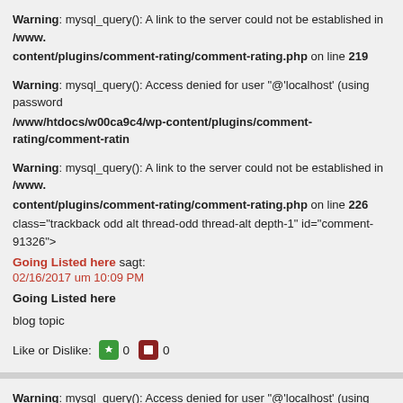Warning: mysql_query(): A link to the server could not be established in /www.../wp-content/plugins/comment-rating/comment-rating.php on line 219
Warning: mysql_query(): Access denied for user "@'localhost' (using password... /www/htdocs/w00ca9c4/wp-content/plugins/comment-rating/comment-ratin...
Warning: mysql_query(): A link to the server could not be established in /www.../wp-content/plugins/comment-rating/comment-rating.php on line 226
class="trackback odd alt thread-odd thread-alt depth-1" id="comment-91326">
Going Listed here sagt:
02/16/2017 um 10:09 PM
Going Listed here
blog topic
Like or Dislike: 0 0
Warning: mysql_query(): Access denied for user "@'localhost' (using password... /www/htdocs/w00ca9c4/wp-content/plugins/comment-ratin...
Warning: mysql_query(): A link to the server could not be established in /www...